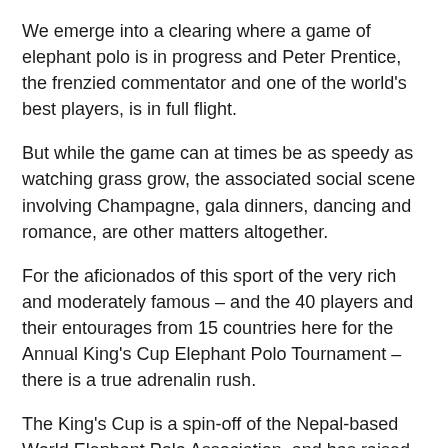We emerge into a clearing where a game of elephant polo is in progress and Peter Prentice, the frenzied commentator and one of the world's best players, is in full flight.
But while the game can at times be as speedy as watching grass grow, the associated social scene involving Champagne, gala dinners, dancing and romance, are other matters altogether.
For the aficionados of this sport of the very rich and moderately famous – and the 40 players and their entourages from 15 countries here for the Annual King's Cup Elephant Polo Tournament – there is a true adrenalin rush.
The King's Cup is a spin-off of the Nepal-based World Elephant Polo Association, and has raised more than US$300,000 for the protection and support of Thailand's embattled elephants, of which only about 5000 survive from a population of 100,000 at the beginning of the 20th century.
This year's Tenth Anniversary Thailand King's Cup will be held in the outskirts of Hua Hin south of Bangkok for…